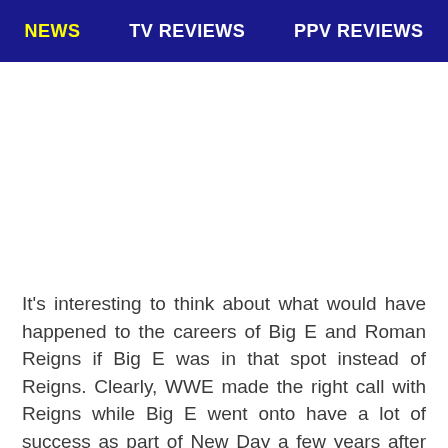NEWS   TV REVIEWS   PPV REVIEWS
It’s interesting to think about what would have happened to the careers of Big E and Roman Reigns if Big E was in that spot instead of Reigns. Clearly, WWE made the right call with Reigns while Big E went onto have a lot of success as part of New Day a few years after this.